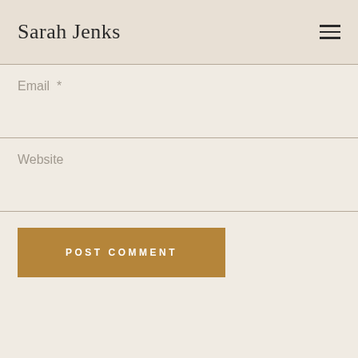Sarah Jenks
Email *
Website
POST COMMENT